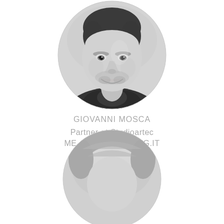[Figure (photo): Black and white circular portrait photo of Giovanni Mosca, a smiling man with short dark hair and stubble wearing a dark polo shirt, cropped in a circle shape against a light grey background.]
GIOVANNI MOSCA
Partner at Studioartec
ME, Dip.Ing, ORD.ING.IT
[Figure (photo): Black and white circular portrait photo showing only the top of a person's head with light/grey hair, partially visible at the bottom of the page, cropped in a circle.]